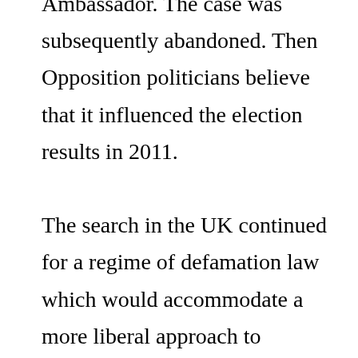Ambassador. The case was subsequently abandoned. Then Opposition politicians believe that it influenced the election results in 2011. The search in the UK continued for a regime of defamation law which would accommodate a more liberal approach to facilitate accountability by public officials. This search led the House of Lords to the ruling in Reynolds v Times Newspapers Ltd in 1999. The House of Lords held that the